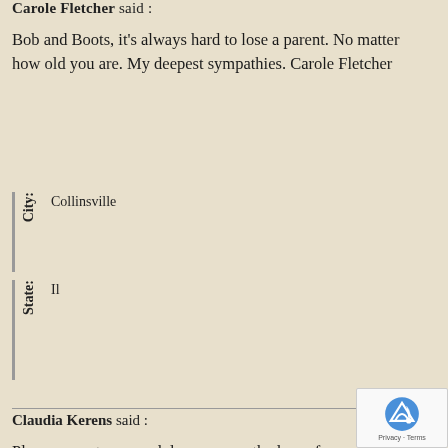Carole Fletcher said :
Bob and Boots, it's always hard to lose a parent. No matter how old you are. My deepest sympathies. Carole Fletcher
| City: | State: |
| --- | --- |
| Collinsville | Il |
Claudia Kerens said :
Please accept my condolences upon the loss of your wife, mother, grandmother, sister, sister-in-law, and aunt. Prayers for you and yours. Sympathies.